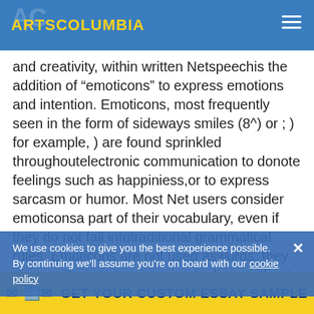ARTSCOLUMBIA
and creativity, within written Netspeechis the addition of “emoticons” to express emotions and intention. Emoticons, most frequently seen in the form of sideways smiles (8^) or ; ) for example, ) are found sprinkled throughoutelectronic communication to donote feelings such as happiniess,or to express sarcasm or humor. Most Net users consider emoticonsa part of their vocabulary, even if they do not fall intotraditional grammatical rules. Emoticons are not used aswords, they are an attempt at expressing feelings without theluxury of using one’s voice.
We use cookies to give you the best experience possible. By continuing we’ll assume you’re on board with our cookie policy
Using all caps in yet another way, Net users have found to bring voice to their written communication;in the form of shouting. Net users use all caps very sparingly only
GET YOUR CUSTOM ESSAY SAMPLE